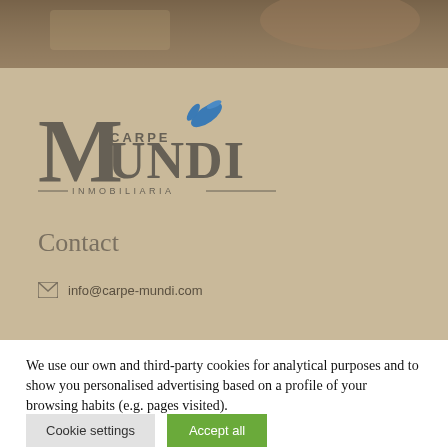[Figure (photo): Dark blurred interior photo strip at top of page]
[Figure (logo): Carpe Mundi Inmobiliaria logo with large M, text CARPE MUNDI, blue flying bird, and INMOBILIARIA text below]
Contact
info@carpe-mundi.com
We use our own and third-party cookies for analytical purposes and to show you personalised advertising based on a profile of your browsing habits (e.g. pages visited).
Cookie settings
Accept all